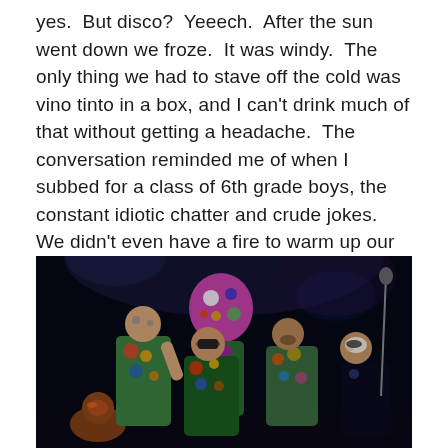yes.  But disco?  Yeeech.  After the sun went down we froze.  It was windy.  The only thing we had to stave off the cold was vino tinto in a box, and I can't drink much of that without getting a headache.  The conversation reminded me of when I subbed for a class of 6th grade boys, the constant idiotic chatter and crude jokes.  We didn't even have a fire to warm up our circle of 10.  I closed my eyes and wished I was elsewhere, dancing tango… my happy zone.
[Figure (photo): Group of performers on stage wearing colorful, patterned jackets and face paint/masks, performing under dramatic stage lighting against a dark background.]